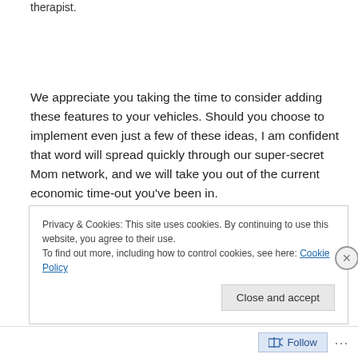therapist.
We appreciate you taking the time to consider adding these features to your vehicles. Should you choose to implement even just a few of these ideas, I am confident that word will spread quickly through our super-secret Mom network, and we will take you out of the current economic time-out you’ve been in.
Privacy & Cookies: This site uses cookies. By continuing to use this website, you agree to their use.
To find out more, including how to control cookies, see here: Cookie Policy
Close and accept
Follow